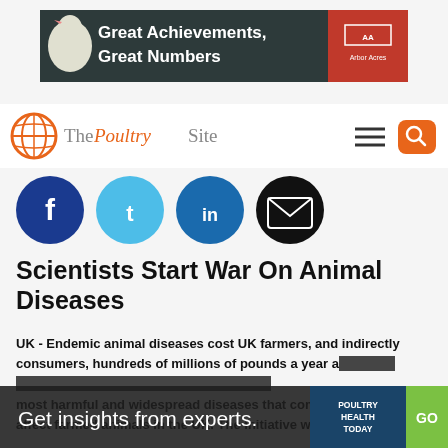[Figure (illustration): Banner advertisement: dark background with white chicken on left, text 'Great Achievements, Great Numbers' in white bold text, red logo box on right with 'Arbor Acres' branding]
[Figure (logo): The Poultry Site logo with orange globe icon and site name, hamburger menu icon and orange search button on right]
[Figure (illustration): Social media sharing icons row: Facebook (dark blue), Twitter (light blue), LinkedIn (blue), Email (black)]
Scientists Start War On Animal Diseases
UK - Endemic animal diseases cost UK farmers, and indirectly consumers, hundreds of millions of pounds a year and a new initiative, announced today, will name the most harmful and widespread diseases that commonly affect farmed animals in the UK. The initiative will improve
[Figure (infographic): Bottom overlay banner with text 'Get insights from experts.' on dark background, Poultry Health Today logo box in teal/navy, and green GO button]